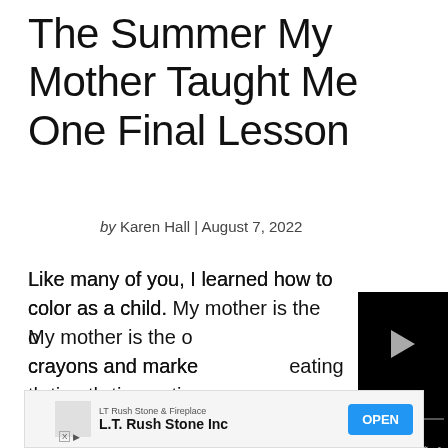The Summer My Mother Taught Me One Final Lesson
by Karen Hall | August 7, 2022
Like many of you, I learned how to color as a child. My mother is the o... crayons and marke... eating them or stic... taught me how to (... and gently tear the...
[Figure (screenshot): Black video player overlay with play button, progress bar showing 00:52, and media controls (mute, grid, settings, fullscreen)]
CONTINUE READING
[Figure (other): Advertisement banner: LT Rush Stone & Fireplace / L.T. Rush Stone Inc with OPEN button]